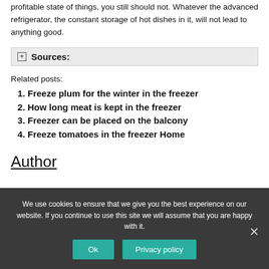profitable state of things, you still should not. Whatever the advanced refrigerator, the constant storage of hot dishes in it, will not lead to anything good.
Sources:
Related posts:
Freeze plum for the winter in the freezer
How long meat is kept in the freezer
Freezer can be placed on the balcony
Freeze tomatoes in the freezer Home
Author
We use cookies to ensure that we give you the best experience on our website. If you continue to use this site we will assume that you are happy with it.